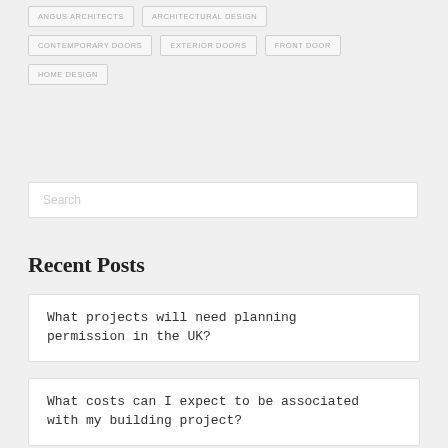ANGUS ARCHITECTS
ARCHITECTURAL DESIGN
CONTEMPORARY DOORS
EXTERIOR DOORS
FRONT DOOR
HOME DESIGN
Search
Recent Posts
What projects will need planning permission in the UK?
What costs can I expect to be associated with my building project?